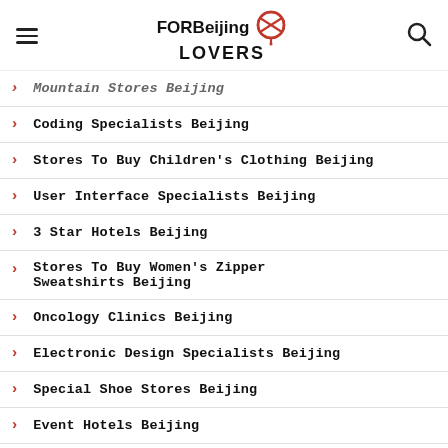FOR Beijing LOVERS
Mountain Stores Beijing
Coding Specialists Beijing
Stores To Buy Children's Clothing Beijing
User Interface Specialists Beijing
3 Star Hotels Beijing
Stores To Buy Women's Zipper Sweatshirts Beijing
Oncology Clinics Beijing
Electronic Design Specialists Beijing
Special Shoe Stores Beijing
Event Hotels Beijing
Daily Apartment Rentals Beijing